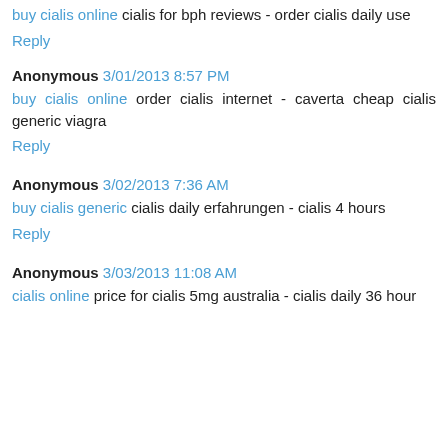buy cialis online cialis for bph reviews - order cialis daily use
Reply
Anonymous 3/01/2013 8:57 PM
buy cialis online order cialis internet - caverta cheap cialis generic viagra
Reply
Anonymous 3/02/2013 7:36 AM
buy cialis generic cialis daily erfahrungen - cialis 4 hours
Reply
Anonymous 3/03/2013 11:08 AM
cialis online price for cialis 5mg australia - cialis daily 36 hour